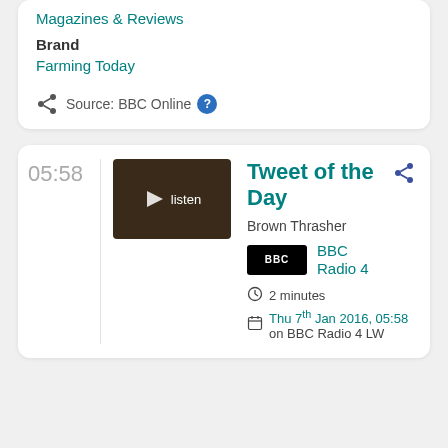Magazines & Reviews
Brand
Farming Today
Source: BBC Online ?
05:58
[Figure (screenshot): Dark thumbnail image with speaker icon and 'listen' text overlay]
Tweet of the Day
Brown Thrasher
BBC Radio 4
2 minutes
Thu 7th Jan 2016, 05:58 on BBC Radio 4 LW